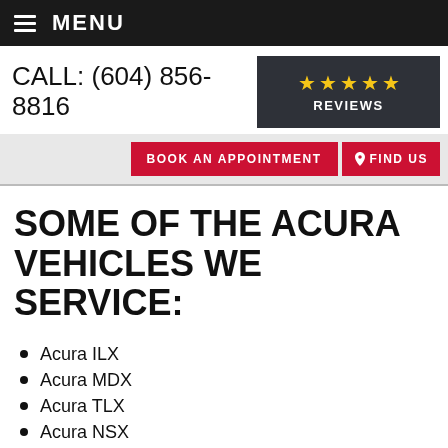MENU
CALL: (604) 856-8816
★★★★★ REVIEWS
BOOK AN APPOINTMENT
📍 FIND US
SOME OF THE ACURA VEHICLES WE SERVICE:
Acura ILX
Acura MDX
Acura TLX
Acura NSX
Acura RDX
Visit Bob's Pricing for all of our auto...